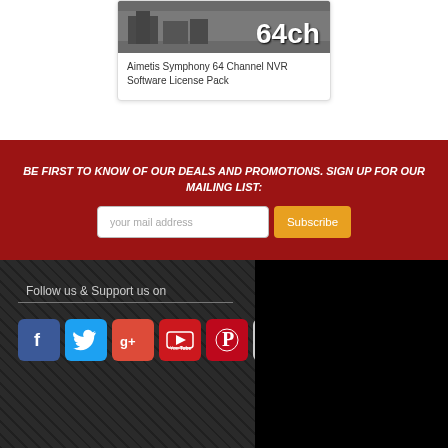[Figure (photo): Product card showing Aimetis Symphony 64 Channel NVR Software License Pack with a photo of a building and '64ch' text overlay]
Aimetis Symphony 64 Channel NVR Software License Pack
BE FIRST TO KNOW OF OUR DEALS AND PROMOTIONS. SIGN UP FOR OUR MAILING LIST:
your mail address
Subscribe
Follow us & Support us on
[Figure (logo): Row of social media icons: Facebook, Twitter, Google+, YouTube, Pinterest, Instagram]